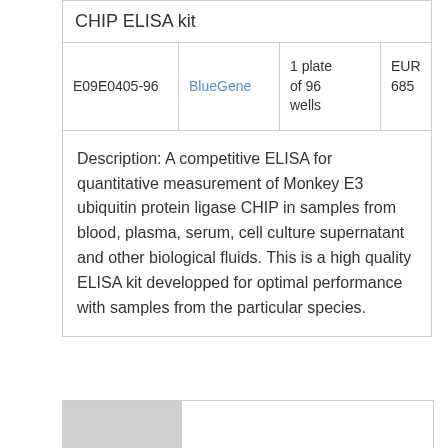CHIP ELISA kit
|  |  |  |  |
| --- | --- | --- | --- |
| E09E0405-96 | BlueGene | 1 plate of 96 wells | EUR 685 |
Description: A competitive ELISA for quantitative measurement of Monkey E3 ubiquitin protein ligase CHIP in samples from blood, plasma, serum, cell culture supernatant and other biological fluids. This is a high quality ELISA kit developped for optimal performance with samples from the particular species.